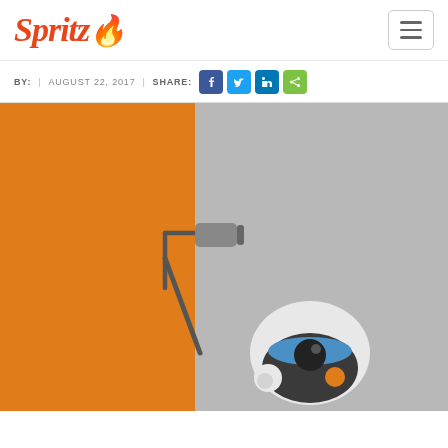Spritz logo and navigation
BY: | AUGUST 22, 2017 | SHARE:
[Figure (illustration): An illustrated robot using a paint roller to paint a wall orange on the left half, while the right half remains gray. The robot is white, blue, and dark gray.]